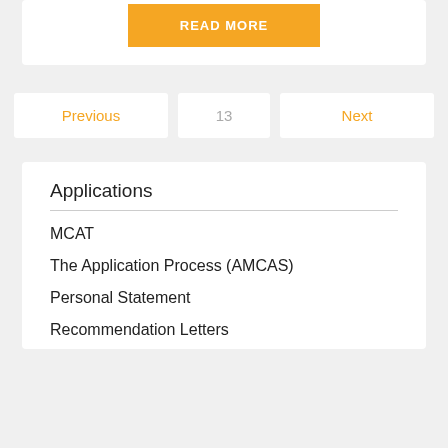READ MORE
Previous
13
Next
Applications
MCAT
The Application Process (AMCAS)
Personal Statement
Recommendation Letters